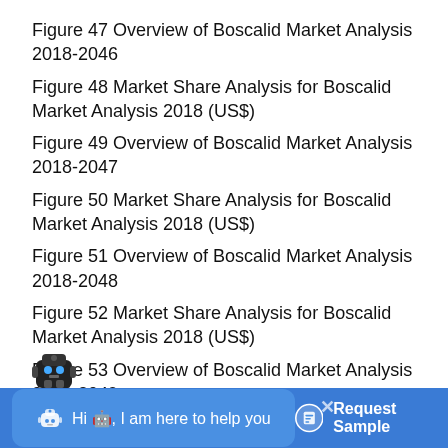Figure 47 Overview of Boscalid Market Analysis 2018-2046
Figure 48 Market Share Analysis for Boscalid Market Analysis 2018 (US$)
Figure 49 Overview of Boscalid Market Analysis 2018-2047
Figure 50 Market Share Analysis for Boscalid Market Analysis 2018 (US$)
Figure 51 Overview of Boscalid Market Analysis 2018-2048
Figure 52 Market Share Analysis for Boscalid Market Analysis 2018 (US$)
Figure 53 Overview of Boscalid Market Analysis 2018-2049
Figure 54 Market Share Analysis for Boscalid Market Analysis 2018 (US$)